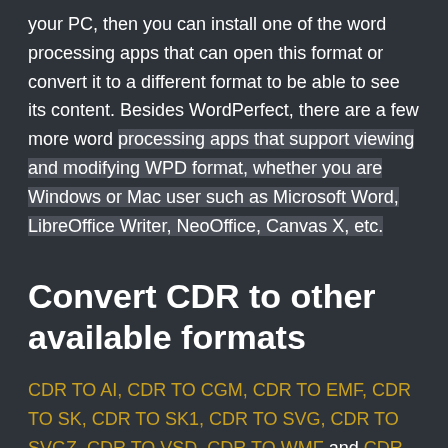your PC, then you can install one of the word processing apps that can open this format or convert it to a different format to be able to see its content. Besides WordPerfect, there are a few more word processing apps that support viewing and modifying WPD format, whether you are Windows or Mac user such as Microsoft Word, LibreOffice Writer, NeoOffice, Canvas X, etc.
Convert CDR to other available formats
CDR TO AI, CDR TO CGM, CDR TO EMF, CDR TO SK, CDR TO SK1, CDR TO SVG, CDR TO SVGZ, CDR TO VSD, CDR TO WMF and CDR TO CDR.